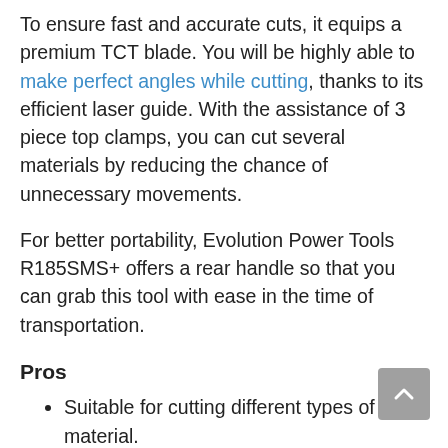To ensure fast and accurate cuts, it equips a premium TCT blade. You will be highly able to make perfect angles while cutting, thanks to its efficient laser guide. With the assistance of 3 piece top clamps, you can cut several materials by reducing the chance of unnecessary movements.
For better portability, Evolution Power Tools R185SMS+ offers a rear handle so that you can grab this tool with ease in the time of transportation.
Pros
Suitable for cutting different types of material.
Fast and accurate TCT blade.
The motor includes adequate power.
A rear handle for easy holding.